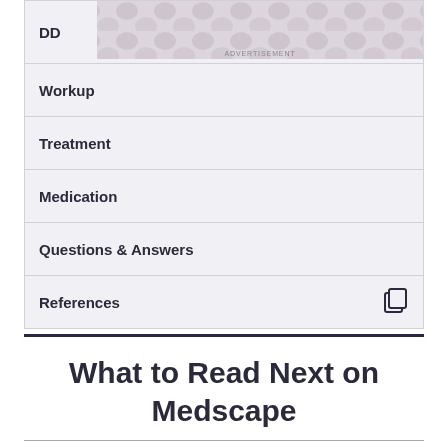DD
[Figure (other): Advertisement banner with decorative dot pattern]
Workup
Treatment
Medication
Questions & Answers
References
What to Read Next on Medscape